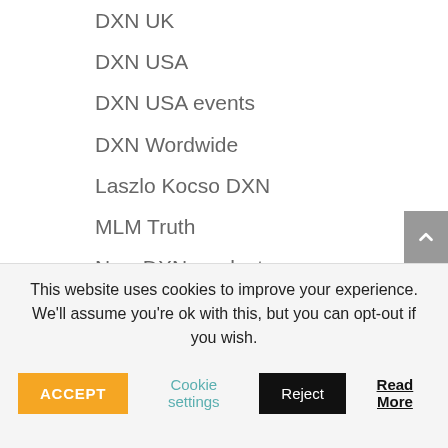DXN UK
DXN USA
DXN USA events
DXN Wordwide
Laszlo Kocso DXN
MLM Truth
New DXN products
Our life
Reishi
Top Male MLM networker
Why
This website uses cookies to improve your experience. We'll assume you're ok with this, but you can opt-out if you wish.
ACCEPT | Cookie settings | Reject | Read More